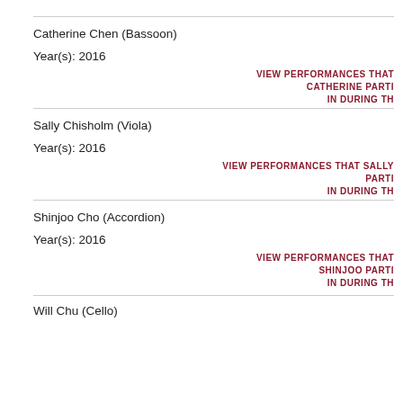Catherine Chen (Bassoon)
Year(s): 2016
VIEW PERFORMANCES THAT CATHERINE PARTI IN DURING TH
Sally Chisholm (Viola)
Year(s): 2016
VIEW PERFORMANCES THAT SALLY PARTI IN DURING TH
Shinjoo Cho (Accordion)
Year(s): 2016
VIEW PERFORMANCES THAT SHINJOO PARTI IN DURING TH
Will Chu (Cello)